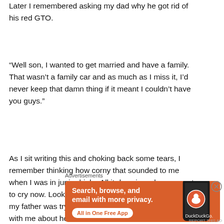Later I remembered asking my dad why he got rid of his red GTO.
“Well son, I wanted to get married and have a family.  That wasn’t a family car and as much as I miss it, I’d never keep that damn thing if it meant I couldn’t have you guys.”
As I sit writing this and choking back some tears, I remember thinking how corny that sounded to me when I was in junior high.  All it does is make me want to cry now.  Looking back, it was a rare moment where my father was trying to have an honest conversation with me about how he felt.  Now that I have a son of my own, I understand it
Advertisements
[Figure (other): DuckDuckGo advertisement banner with orange background. Text reads: Search, browse, and email with more privacy. All in One Free App. Shows a smartphone with DuckDuckGo logo.]